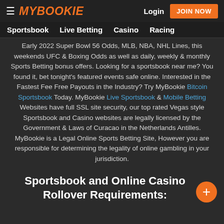MY BOOKIE — Login | JOIN NOW
Sportsbook | Live Betting | Casino | Racing
Early 2022 Super Bowl 56 Odds, MLB, NBA, NHL Lines, this weekends UFC & Boxing Odds as well as daily, weekly & monthly Sports Betting bonus offers. Looking for a sportsbook near me? You found it, bet tonight's featured events safe online. Interested in the Fastest Fee Free Payouts in the Industry? Try MyBookie Bitcoin Sportsbook Today. MyBookie Live Sportsbook & Mobile Betting Websites have full SSL site security, our top rated Vegas style Sportsbook and Casino websites are legally licensed by the Government & Laws of Curacao in the Netherlands Antilles. MyBookie is a Legal Online Sports Betting Site, However you are responsible for determining the legality of online gambling in your jurisdiction.
Sportsbook and Online Casino Rollover Requirements: